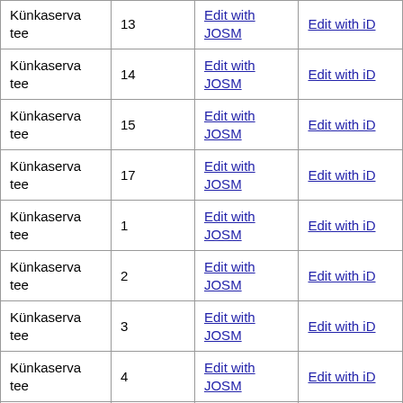| Künkaserva tee | 13 | Edit with JOSM | Edit with iD |
| Künkaserva tee | 14 | Edit with JOSM | Edit with iD |
| Künkaserva tee | 15 | Edit with JOSM | Edit with iD |
| Künkaserva tee | 17 | Edit with JOSM | Edit with iD |
| Künkaserva tee | 1 | Edit with JOSM | Edit with iD |
| Künkaserva tee | 2 | Edit with JOSM | Edit with iD |
| Künkaserva tee | 3 | Edit with JOSM | Edit with iD |
| Künkaserva tee | 4 | Edit with JOSM | Edit with iD |
| Künkaserva tee | 5 | Edit with JOSM | Edit with iD |
| Künkaserva tee | 6 | Edit with JOSM | Edit with iD |
| Künkaserva tee | 7 | Edit with JOSM | Edit with iD |
| Künkaserva tee |  | Edit with JOSM | Edit with iD |